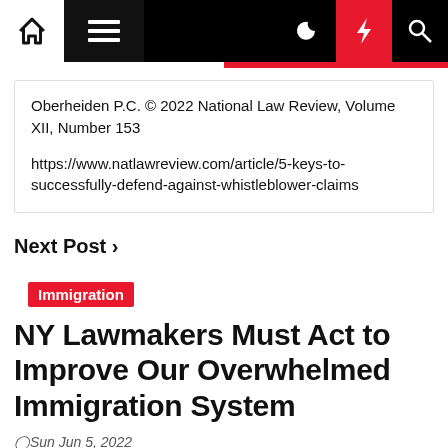Navigation bar with home, menu, moon, bolt, and search icons
Oberheiden P.C. © 2022 National Law Review, Volume XII, Number 153

https://www.natlawreview.com/article/5-keys-to-successfully-defend-against-whistleblower-claims
Next Post ›
Immigration
NY Lawmakers Must Act to Improve Our Overwhelmed Immigration System
⊙Sun Jun 5, 2022